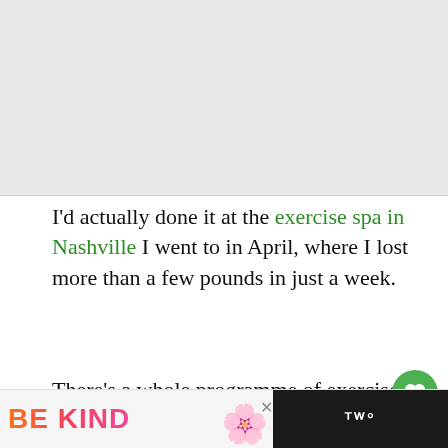[Figure (photo): Placeholder image area at top of page, light gray background]
I'd actually done it at the exercise spa in Nashville I went to in April, where I lost more than a few pounds in just a week.
There's a whole programme of exercise to join at Ragdale Hall, but I decided that three exercise sessions in two days was more than enough. I was meant to be r...
[Figure (infographic): Advertisement banner at bottom: BE KIND text in orange-pink gradient with decorative flower motif, dark right panel with Texaco/TW logo]
r